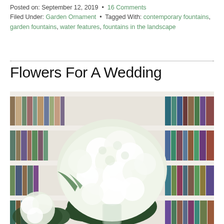Posted on: September 12, 2019 • 16 Comments
Filed Under: Garden Ornament • Tagged With: contemporary fountains, garden fountains, water features, fountains in the landscape
Flowers For A Wedding
[Figure (photo): Large arrangement of white hydrangea flowers in glass vases placed in front of a white bookshelf filled with colorful books]